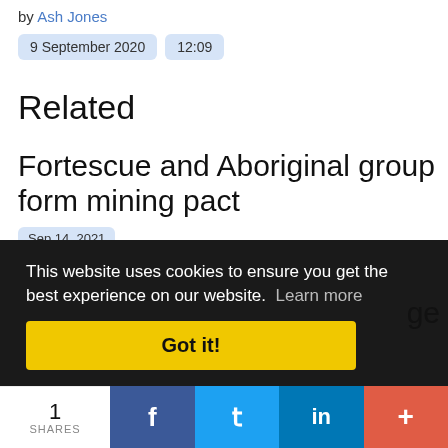by Ash Jones
9 September 2020   12:09
Related
Fortescue and Aboriginal group form mining pact
Sep 14, 2021
Rio Tinto still to pay traditional
This website uses cookies to ensure you get the best experience on our website.  Learn more
Got it!
1 SHARES
f
t
in
+